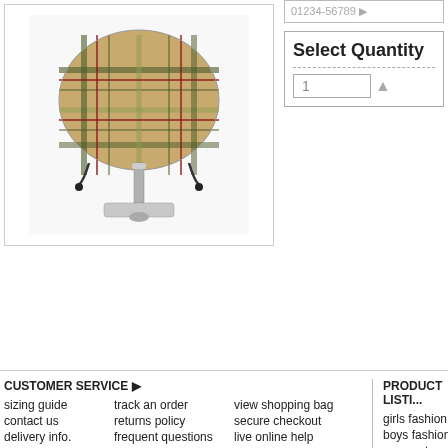[Figure (photo): A plaid-patterned pet chair/bed on a chrome stand with a square base, featuring a tartan fabric in beige, green, red, and black]
Select Quantity
1
CUSTOMER SERVICE ▶
sizing guide
track an order
view shopping bag
contact us
returns policy
secure checkout
delivery info.
frequent questions
live online help
PRODUCT LISTI...
girls fashion
boys fashion
season trends
© 2022 Chihuahuaclothes.co. All rights reserved. legal notice , privacy policy , returns policy , webmasters .